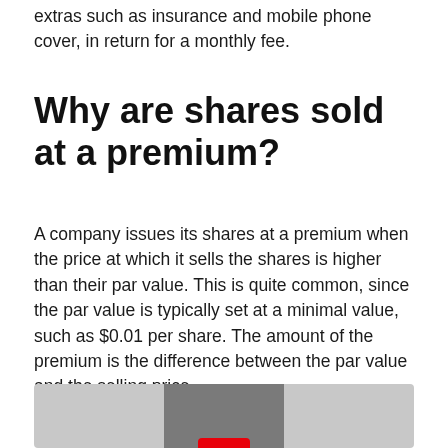extras such as insurance and mobile phone cover, in return for a monthly fee.
Why are shares sold at a premium?
A company issues its shares at a premium when the price at which it sells the shares is higher than their par value. This is quite common, since the par value is typically set at a minimal value, such as $0.01 per share. The amount of the premium is the difference between the par value and the selling price.
[Figure (photo): A photo showing what appears to be a device with a red button, set against a grey background.]